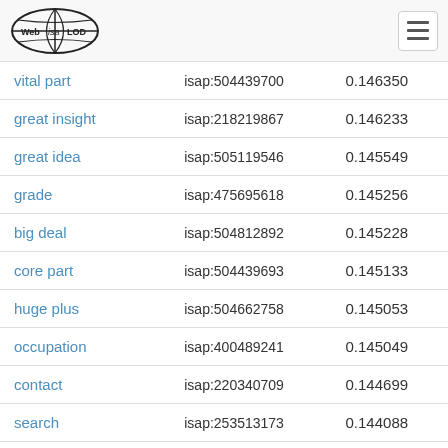Web isa LOD [logo] [hamburger menu]
| vital part | isap:504439700 | 0.146350 |
| great insight | isap:218219867 | 0.146233 |
| great idea | isap:505119546 | 0.145549 |
| grade | isap:475695618 | 0.145256 |
| big deal | isap:504812892 | 0.145228 |
| core part | isap:504439693 | 0.145133 |
| huge plus | isap:504662758 | 0.145053 |
| occupation | isap:400489241 | 0.145049 |
| contact | isap:220340709 | 0.144699 |
| search | isap:253513173 | 0.144088 |
| essential part | isap:504439699 | 0.143717 |